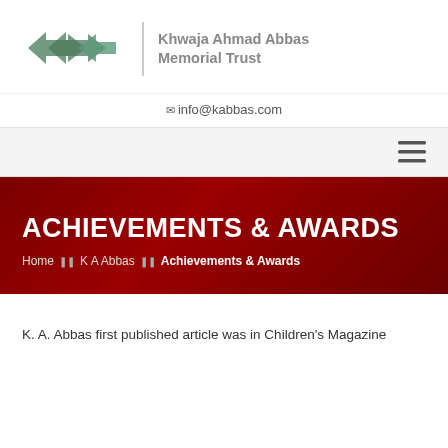[Figure (logo): Khwaja Ahmad Abbas Memorial Trust logo — green/teal zigzag arrow shapes — with organization name to the right]
✉ info@kabbas.com
[Figure (illustration): Hamburger menu icon (three horizontal lines) in the navigation bar]
ACHIEVEMENTS & AWARDS
Home ❯ K A Abbas ❯ Achievements & Awards
K. A. Abbas first published article was in Children's Magazine